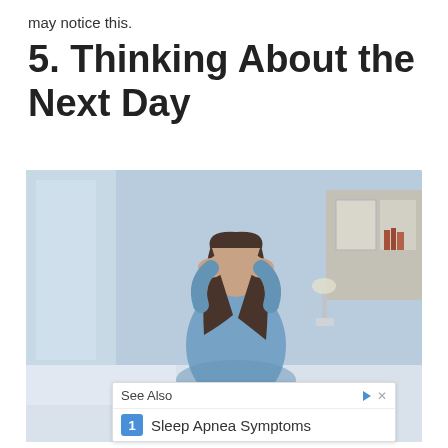may notice this.
5. Thinking About the Next Day
[Figure (photo): A woman in blue pajamas sitting on a bed with her head in her hands, looking distressed, in a softly lit blue-toned bedroom setting.]
See Also
1  Sleep Apnea Symptoms